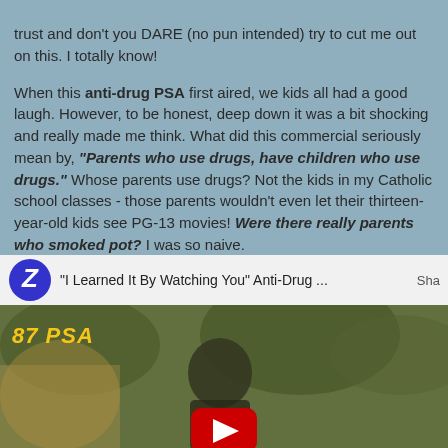trust and don't you DARE (no pun intended) try to cut me out on this. I totally know!

When this anti-drug PSA first aired, we kids all had a good laugh. However, to be honest, deep down it was a bit shocking and really made me think. What did this commercial seriously mean by, "Parents who use drugs, have children who use drugs." Whose parents use drugs? Not the kids in my Catholic school classes - those parents wouldn't even let their thirteen-year-old kids see PG-13 movies! Were there really parents who smoked pot? I was so naive.
[Figure (screenshot): YouTube video embed showing 'I Learned It By Watching You' Anti-Drug PSA from 1987, with a blurred thumbnail of a child figure and a play button at the bottom.]